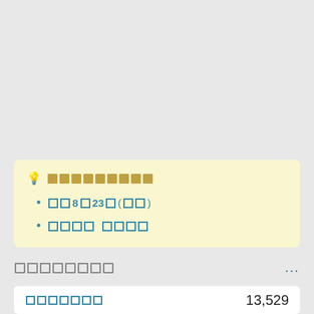💡 ■■■■■■■■■
■■8■23■(■■)
■■■■ ■■■■
■■■■■■■■
...
■■■■■■■ 13,529